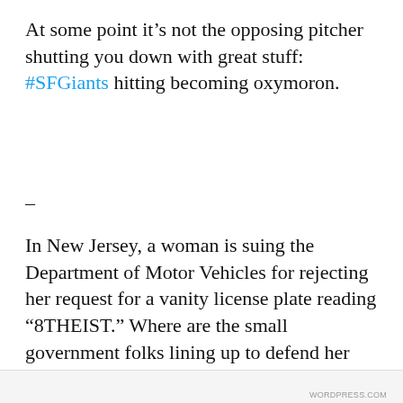At some point it’s not the opposing pitcher shutting you down with great stuff: #SFGiants hitting becoming oxymoron.
–
In New Jersey, a woman is suing the Department of Motor Vehicles for rejecting her request for a vanity license plate reading “8THEIST.” Where are the small government folks lining up to defend her right to free speech on this one?
–
Privacy & Cookies: This site uses cookies. By continuing to use this website, you agree to their use.
To find out more, including how to control cookies, see here: Cookie Policy
Close and accept